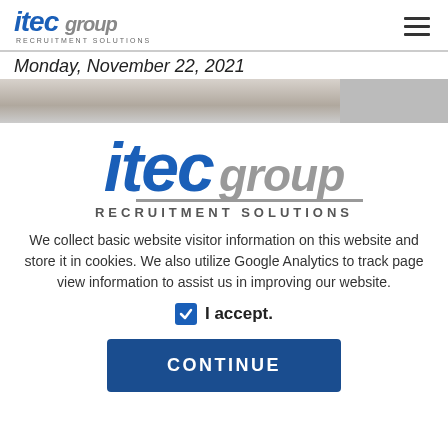[Figure (logo): itec group RECRUITMENT SOLUTIONS logo (small, top left) with hamburger menu icon top right]
Monday, November 22, 2021
[Figure (photo): Partial interior photo strip (cropped, grey tones)]
[Figure (logo): itec group RECRUITMENT SOLUTIONS logo (large, centered)]
We collect basic website visitor information on this website and store it in cookies. We also utilize Google Analytics to track page view information to assist us in improving our website.
I accept.
CONTINUE